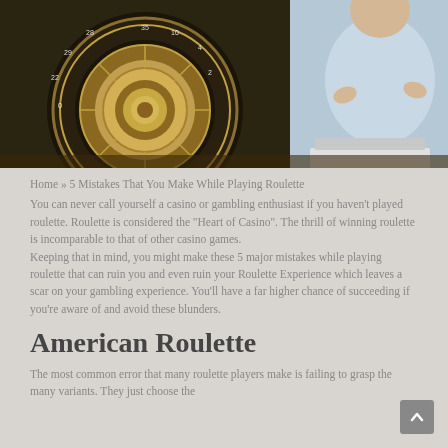[Figure (photo): A roulette wheel with a person in a light blue shirt standing behind it, appearing to gesture with hands. A laptop is visible on the table.]
Home » 5 Mistakes That You Make While Playing Roulette
You can never call yourself a casino or gambling enthusiast if you haven't played roulette. Roulette is considered the "Heart of Casino". The thrill of winning roulette is incomparable to that of other casino games.
Keeping that in mind, you might make these 5 major mistakes while playing roulette that can ruin you and even ruin your Roulette Experience which leaves a scar on your gambling experience. You'll have a far higher chance of succeeding if you're aware of and avoid these blunders.
American Roulette
The most common error that many roulette players make is failing to grasp the many variants. They just choose the